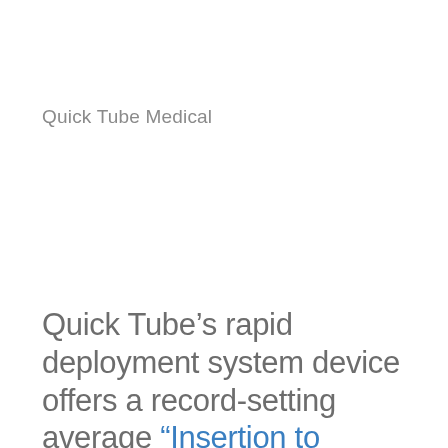Quick Tube Medical
Quick Tube’s rapid deployment system device offers a record-setting average “Insertion to Completion” process of 30 – 45 seconds, compared to insertion time of up to 8